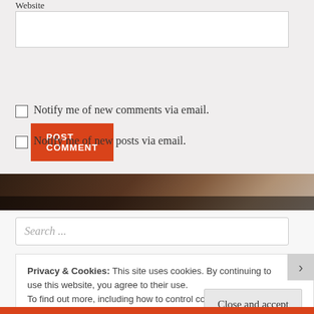Website
[Figure (screenshot): Website text input field (empty)]
[Figure (screenshot): POST COMMENT orange button]
Notify me of new comments via email.
Notify me of new posts via email.
[Figure (photo): Dark background image band, books/keyboard]
[Figure (screenshot): Search ... input field]
Privacy & Cookies: This site uses cookies. By continuing to use this website, you agree to their use.
To find out more, including how to control cookies, see here: Cookie Policy
Close and accept